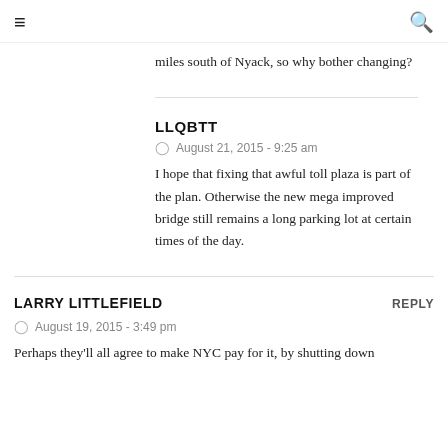≡  🔍
miles south of Nyack, so why bother changing?
LLQBTT
August 21, 2015 - 9:25 am
I hope that fixing that awful toll plaza is part of the plan. Otherwise the new mega improved bridge still remains a long parking lot at certain times of the day.
LARRY LITTLEFIELD
REPLY
August 19, 2015 - 3:49 pm
Perhaps they'll all agree to make NYC pay for it, by shutting down